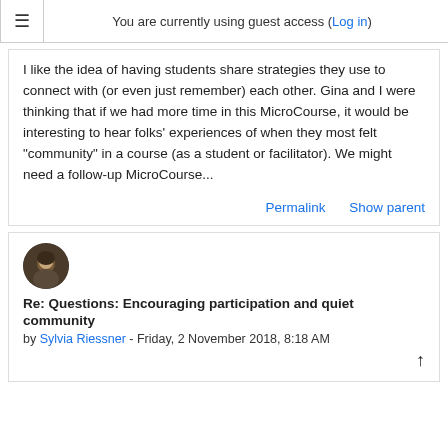You are currently using guest access (Log in)
I like the idea of having students share strategies they use to connect with (or even just remember) each other. Gina and I were thinking that if we had more time in this MicroCourse, it would be interesting to hear folks' experiences of when they most felt "community" in a course (as a student or facilitator). We might need a follow-up MicroCourse...
Permalink   Show parent
Re: Questions: Encouraging participation and quiet community
by Sylvia Riessner - Friday, 2 November 2018, 8:18 AM